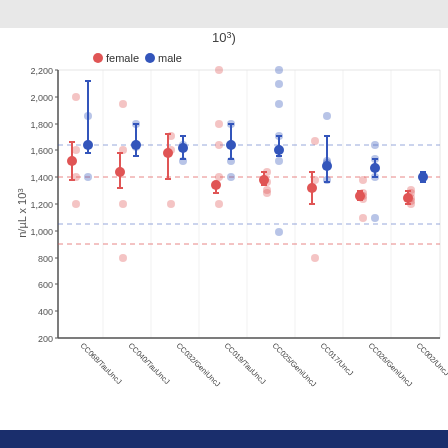[Figure (scatter-plot): Scatter plot showing n/µL x 10^3 values for female (red) and male (blue) across 8 CC strains, with mean and error bars, and dashed reference lines for each sex.]